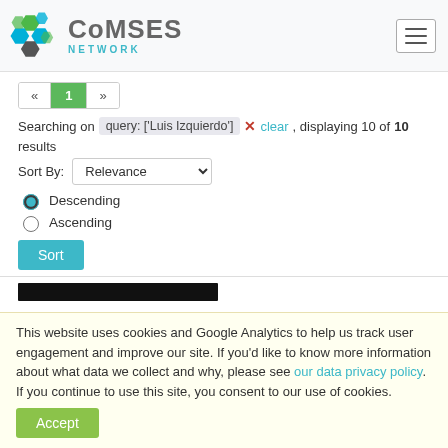[Figure (logo): CoMSES Network logo with colorful hexagon cluster and text]
« 1 »
Searching on query: ['Luis Izquierdo'] ✕ clear, displaying 10 of 10 results
Sort By: Relevance
Descending
Ascending
Sort
[Figure (screenshot): Black image bar - result thumbnail]
This website uses cookies and Google Analytics to help us track user engagement and improve our site. If you'd like to know more information about what data we collect and why, please see our data privacy policy. If you continue to use this site, you consent to our use of cookies.
Accept